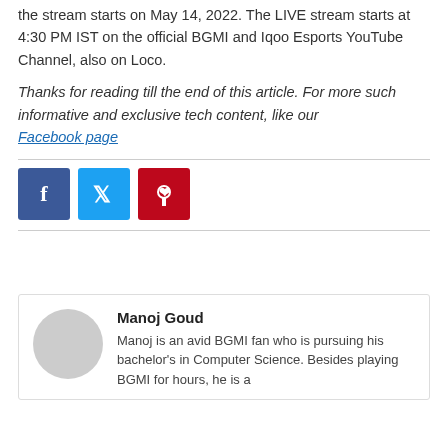the stream starts on May 14, 2022. The LIVE stream starts at 4:30 PM IST on the official BGMI and Iqoo Esports YouTube Channel, also on Loco.
Thanks for reading till the end of this article. For more such informative and exclusive tech content, like our Facebook page
[Figure (infographic): Three social media share buttons: Facebook (blue), Twitter (light blue), Pinterest (red), each with the respective icon in white.]
Manoj Goud
Manoj is an avid BGMI fan who is pursuing his bachelor's in Computer Science. Besides playing BGMI for hours, he is a